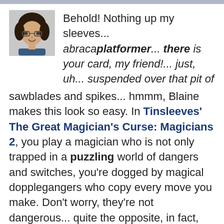[Figure (photo): Profile photo of a woman with glasses and short dark hair, smiling, shown in a square avatar format]
Behold! Nothing up my sleeves... abracaplatformer... there is your card, my friend!... just, uh... suspended over that pit of sawblades and spikes... hmmm, Blaine makes this look so easy. In Tinsleeves' The Great Magician's Curse: Magicians 2, you play a magician who is not only trapped in a puzzling world of dangers and switches, you're dogged by magical dopplegangers who copy every move you make. Don't worry, they're not dangerous... quite the opposite, in fact, since you can use them to accomplish tasks for you! Use [WASD] or the [arrow] keys to move and jump. But the kicker is that only the main magic maestro can go through the exit and collect the card in each level, and a single hit will destroy any of your magicians. Since they all move at once, you'll need to figure out how to manipulate the copies to open doors for you without